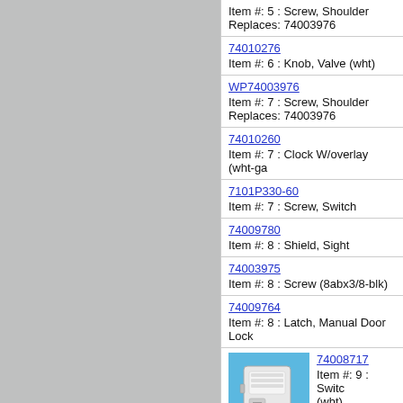Item #: 5 : Screw, Shoulder
Replaces: 74003976
74010276
Item #: 6 : Knob, Valve (wht)
WP74003976
Item #: 7 : Screw, Shoulder
Replaces: 74003976
74010260
Item #: 7 : Clock W/overlay (wht-ga
7101P330-60
Item #: 7 : Screw, Switch
74009780
Item #: 8 : Shield, Sight
74003975
Item #: 8 : Screw (8abx3/8-blk)
74009764
Item #: 8 : Latch, Manual Door Lock
74008717
Item #: 9 : Switch (wht)
W11233072